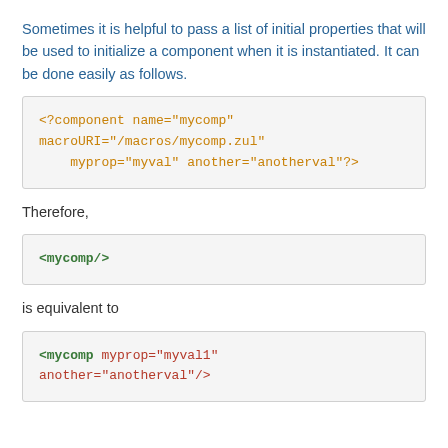Sometimes it is helpful to pass a list of initial properties that will be used to initialize a component when it is instantiated. It can be done easily as follows.
[Figure (screenshot): Code block showing: <?component name="mycomp" macroURI="/macros/mycomp.zul" myprop="myval" another="anotherval"?>]
Therefore,
[Figure (screenshot): Code block showing: <mycomp/>]
is equivalent to
[Figure (screenshot): Code block showing: <mycomp myprop="myval1" another="anotherval"/>]